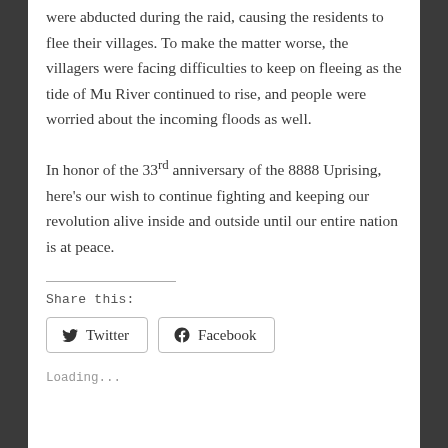were abducted during the raid, causing the residents to flee their villages. To make the matter worse, the villagers were facing difficulties to keep on fleeing as the tide of Mu River continued to rise, and people were worried about the incoming floods as well.
In honor of the 33rd anniversary of the 8888 Uprising, here's our wish to continue fighting and keeping our revolution alive inside and outside until our entire nation is at peace.
Share this:
[Figure (other): Social sharing buttons: Twitter and Facebook]
Loading...